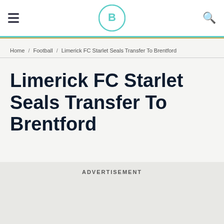Brentford logo header with hamburger menu and search icon
Home / Football / Limerick FC Starlet Seals Transfer To Brentford
Limerick FC Starlet Seals Transfer To Brentford
ADVERTISEMENT